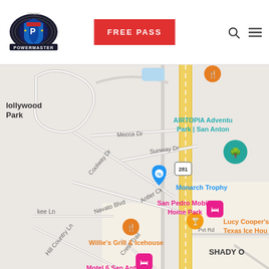[Figure (logo): Powermaster Fitness logo — circular badge with blue and red design]
FREE PASS
[Figure (screenshot): Google Maps screenshot showing San Antonio area near US-281, with landmarks including AIRTOPIA Adventure Park, Monarch Trophy, San Pedro Mobile Home Park, Lucy Cooper's Texas Ice House, Willie's Grill & Icehouse, Motel 6 San Antonio, and streets including Mecca Dr, Sunway Dr, Coolway Dr, Navato Blvd, Hill Country Ln, Crest Trail]